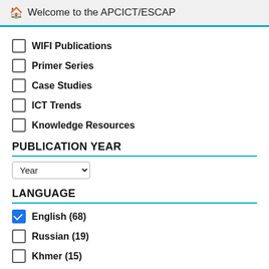Welcome to the APCICT/ESCAP
WIFI Publications
Primer Series
Case Studies
ICT Trends
Knowledge Resources
PUBLICATION YEAR
Year (dropdown)
LANGUAGE
English (68)
Russian (19)
Khmer (15)
Indonesian (12)
Russian (11)